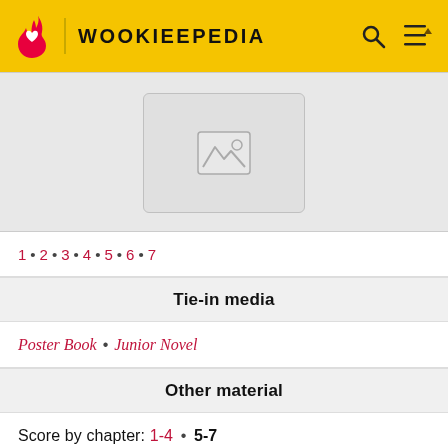WOOKIEEPEDIA
[Figure (other): Image placeholder with mountain/landscape icon]
1 • 2 • 3 • 4 • 5 • 6 • 7
Tie-in media
Poster Book • Junior Novel
Other material
Score by chapter: 1-4 • 5-7
Disney Gallery: The Book of Boba Fett
Related series